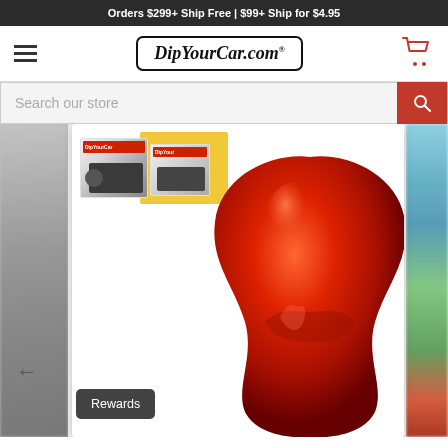Orders $299+ Ship Free | $99+ Ship for $4.95
[Figure (logo): DipYourCar.com logo in italic bold font inside a rounded rectangle border]
Search our store
[Figure (photo): Product page image: large glossy red blob (dip paint) in center foreground, with DipYourCar branded spray gun product boxes visible in upper left and yellow packaging card, blurred side panels partially visible on left and right edges. Rewards button in lower left area.]